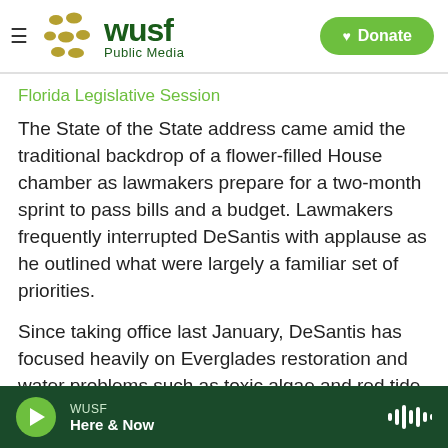[Figure (logo): WUSF Public Media logo with hamburger menu and Donate button]
Florida Legislative Session
The State of the State address came amid the traditional backdrop of a flower-filled House chamber as lawmakers prepare for a two-month sprint to pass bills and a budget. Lawmakers frequently interrupted DeSantis with applause as he outlined what were largely a familiar set of priorities.
Since taking office last January, DeSantis has focused heavily on Everglades restoration and water problems such as toxic algae and red tide in
WUSF Here & Now